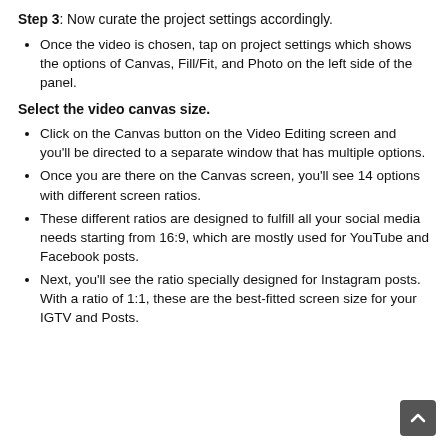Step 3: Now curate the project settings accordingly.
Once the video is chosen, tap on project settings which shows the options of Canvas, Fill/Fit, and Photo on the left side of the panel.
Select the video canvas size.
Click on the Canvas button on the Video Editing screen and you'll be directed to a separate window that has multiple options.
Once you are there on the Canvas screen, you'll see 14 options with different screen ratios.
These different ratios are designed to fulfill all your social media needs starting from 16:9, which are mostly used for YouTube and Facebook posts.
Next, you'll see the ratio specially designed for Instagram posts. With a ratio of 1:1, these are the best-fitted screen size for your IGTV and Posts.